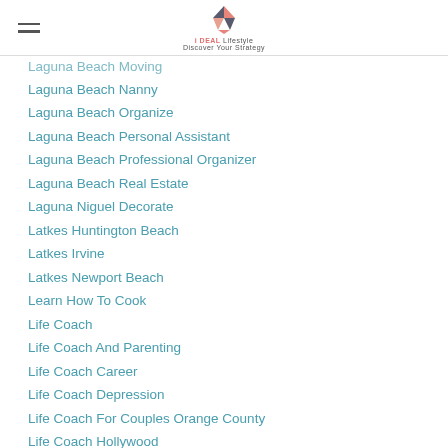iDEAL Lifestyle - Discover Your Strategy
Laguna Beach Moving
Laguna Beach Nanny
Laguna Beach Organize
Laguna Beach Personal Assistant
Laguna Beach Professional Organizer
Laguna Beach Real Estate
Laguna Niguel Decorate
Latkes Huntington Beach
Latkes Irvine
Latkes Newport Beach
Learn How To Cook
Life Coach
Life Coach And Parenting
Life Coach Career
Life Coach Depression
Life Coach For Couples Orange County
Life Coach Hollywood
Life Coaching Irvine